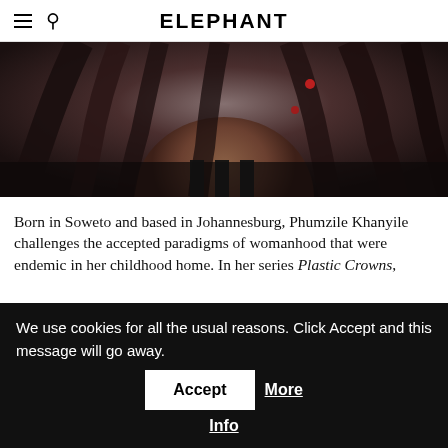ELEPHANT
[Figure (photo): Close-up photo of a person with dark curly hair cascading down, wearing dark clothing with red accent details, photographed from roughly neck/chest level upward against a muted background.]
Born in Soweto and based in Johannesburg, Phumzile Khanyile challenges the accepted paradigms of womanhood that were endemic in her childhood home. In her series Plastic Crowns,
We use cookies for all the usual reasons. Click Accept and this message will go away.
Accept  More Info